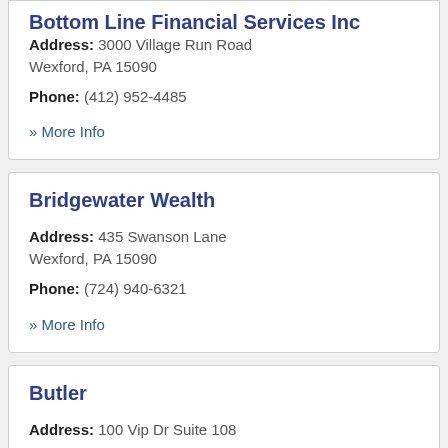Bottom Line Financial Services Inc
Address: 3000 Village Run Road Wexford, PA 15090
Phone: (412) 952-4485
» More Info
Bridgewater Wealth
Address: 435 Swanson Lane Wexford, PA 15090
Phone: (724) 940-6321
» More Info
Butler
Address: 100 Vip Dr Suite 108